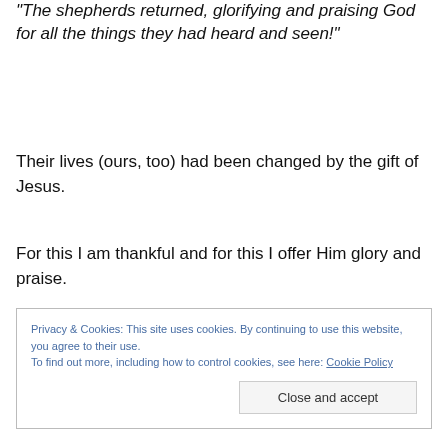"The shepherds returned, glorifying and praising God for all the things they had heard and seen!"
Their lives (ours, too) had been changed by the gift of Jesus.
For this I am thankful and for this I offer Him glory and praise.
Privacy & Cookies: This site uses cookies. By continuing to use this website, you agree to their use.
To find out more, including how to control cookies, see here: Cookie Policy
Close and accept